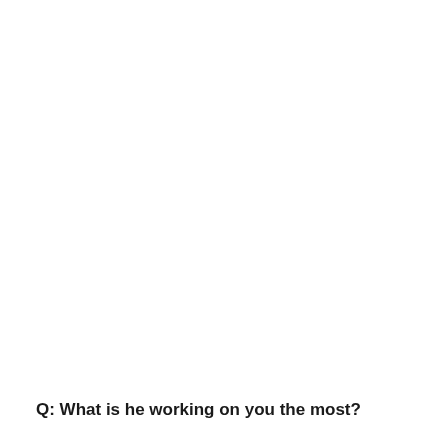Q: What is he working on you the most?